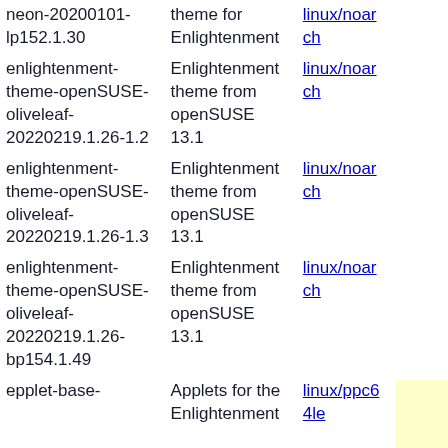| neon-20200101-lp152.1.30 | theme for Enlightenment | linux/noarch |  |
| enlightenment-theme-openSUSE-oliveleaf-20220219.1.26-1.2 | Enlightenment theme from openSUSE 13.1 | linux/noarch |  |
| enlightenment-theme-openSUSE-oliveleaf-20220219.1.26-1.3 | Enlightenment theme from openSUSE 13.1 | linux/noarch |  |
| enlightenment-theme-openSUSE-oliveleaf-20220219.1.26-bp154.1.49 | Enlightenment theme from openSUSE 13.1 | linux/noarch |  |
| epplet-base- | Applets for the Enlightenment | linux/ppc64le | linux/ppc64 |